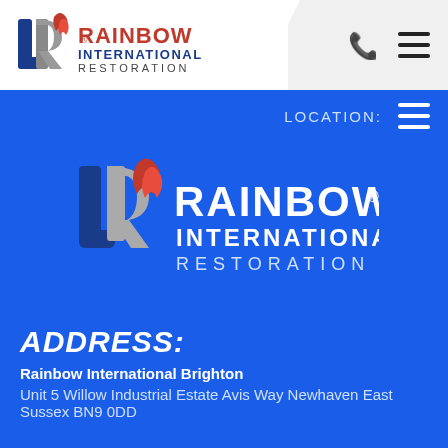[Figure (logo): Rainbow International Restoration logo - header top left, with stylized IR mark and red/blue text]
[Figure (logo): Phone icon and hamburger menu in top right header]
LOCATION:
[Figure (logo): Rainbow International Restoration logo - centered large on blue background]
ADDRESS:
Rainbow International Brighton
Unit 5 Willow Industrial Estate Avis Way Newhaven East Sussex BN9 0DD